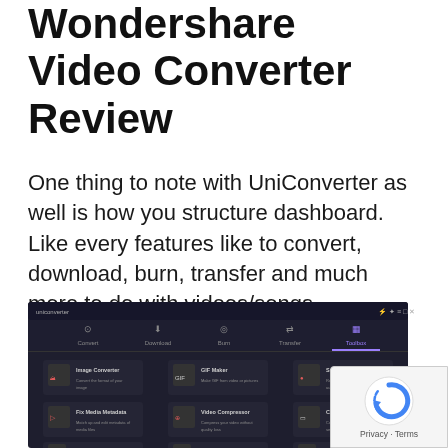Wondershare Video Converter Review
One thing to note with UniConverter as well is how you structure dashboard. Like every features like to convert, download, burn, transfer and much more to do with videos/songs.
[Figure (screenshot): Screenshot of Wondershare UniConverter application dashboard showing dark interface with tabs: Convert, Download, Burn, Transfer, Toolbox, and feature tiles including Image Converter, GIF Maker, Screen Recorder, Fix Media Metadata, Video Compressor, Cast to TV, 4K Converter, CD Burner, CD Ripper, with a reCAPTCHA widget overlay in bottom right]